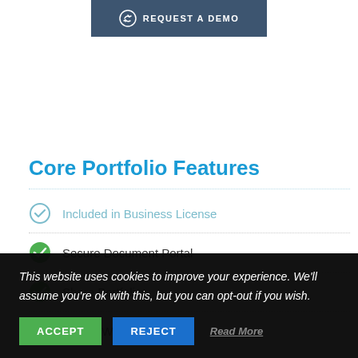[Figure (other): Button with circular arrow icon and text REQUEST A DEMO on dark blue background]
Core Portfolio Features
Included in Business License
Secure Document Portal
Share Portfolios
Create Workflows
This website uses cookies to improve your experience. We'll assume you're ok with this, but you can opt-out if you wish.
ACCEPT   REJECT   Read More